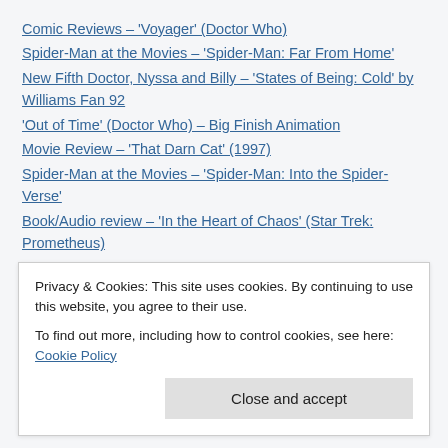Comic Reviews – 'Voyager' (Doctor Who)
Spider-Man at the Movies – 'Spider-Man: Far From Home'
New Fifth Doctor, Nyssa and Billy – 'States of Being: Cold' by Williams Fan 92
'Out of Time' (Doctor Who) – Big Finish Animation
Movie Review – 'That Darn Cat' (1997)
Spider-Man at the Movies – 'Spider-Man: Into the Spider-Verse'
Book/Audio review – 'In the Heart of Chaos' (Star Trek: Prometheus)
Movie Review – 'That Darn Cat!'
Spider-Man at the Movies – 'Spider-Man: Homecoming'
Basement News – August 2022
Privacy & Cookies: This site uses cookies. By continuing to use this website, you agree to their use.
To find out more, including how to control cookies, see here: Cookie Policy
Close and accept